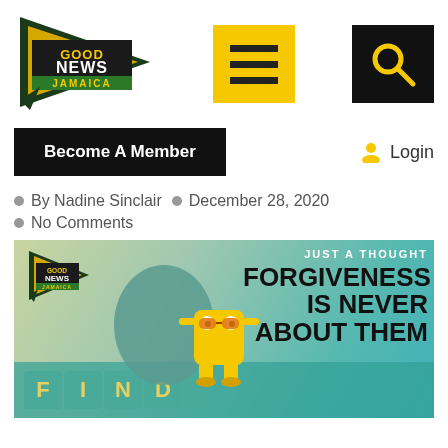[Figure (logo): Good News Jamaica logo - gold triangle with text]
[Figure (other): Yellow square menu/hamburger button icon]
[Figure (other): Black square search button with magnifying glass icon]
Become A Member
Login
By Nadine Sinclair
December 28, 2020
No Comments
[Figure (photo): Article featured image with Good News Jamaica logo, a toy figure holding a sign, text reading JUST A THOUGHT and FORGIVENESS IS NEVER ABOUT THEM, with Scrabble tiles spelling FIND at the bottom]